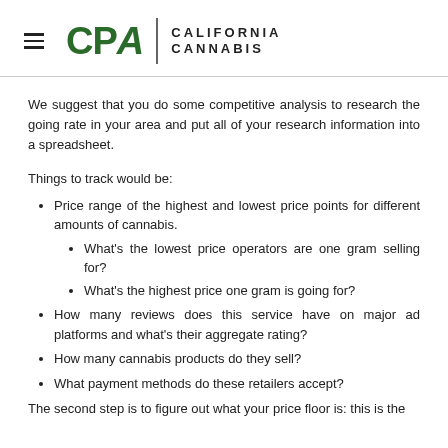CPA | CALIFORNIA CANNABIS
We suggest that you do some competitive analysis to research the going rate in your area and put all of your research information into a spreadsheet.
Things to track would be:
Price range of the highest and lowest price points for different amounts of cannabis.
What's the lowest price operators are one gram selling for?
What's the highest price one gram is going for?
How many reviews does this service have on major ad platforms and what's their aggregate rating?
How many cannabis products do they sell?
What payment methods do these retailers accept?
The second step is to figure out what your price floor is: this is the